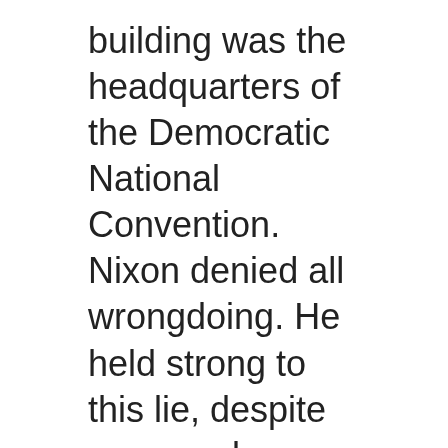building was the headquarters of the Democratic National Convention. Nixon denied all wrongdoing. He held strong to this lie, despite more and more evidence to the contrary piling up. He went on to run for re-election and won in a landslide. The American people were smitten with his lack of accountability. Eventually, he would insist that a President be able to serve for life and now all that's keeping him in